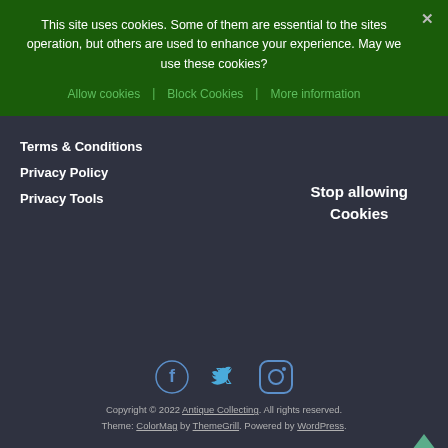This site uses cookies. Some of them are essential to the sites operation, but others are used to enhance your experience. May we use these cookies?
Allow cookies
Block Cookies
More information
Terms & Conditions
Privacy Policy
Privacy Tools
Stop allowing Cookies
[Figure (infographic): Social media icons: Facebook (f), Twitter (bird), Instagram (camera)]
Copyright © 2022 Antique Collecting. All rights reserved. Theme: ColorMag by ThemeGrill. Powered by WordPress.